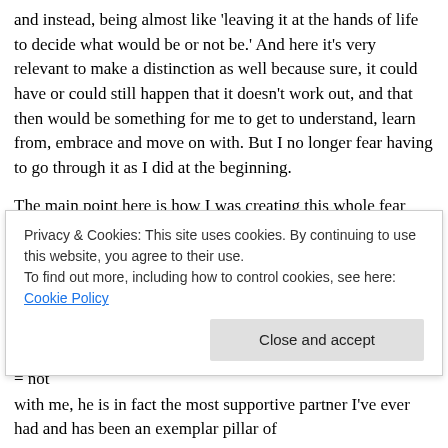and instead, being almost like 'leaving it at the hands of life to decide what would be or not be.' And here it's very relevant to make a distinction as well because sure, it could have or could still happen that it doesn't work out, and that then would be something for me to get to understand, learn from, embrace and move on with. But I no longer fear having to go through it as I did at the beginning.
The main point here is how I was creating this whole fear and uncertainty because of not realizing that I could decide to be OK with either/or scenario as well. I was defining myself already by the idea that 'losing the baby' would be a bad, negative, painful process and that would 'define me' somehow – so that's how I then would 'prevent' going through all such 'negative things' by remaining in that limbo = not
with me, he is in fact the most supportive partner I've ever had and has been an exemplar pillar of